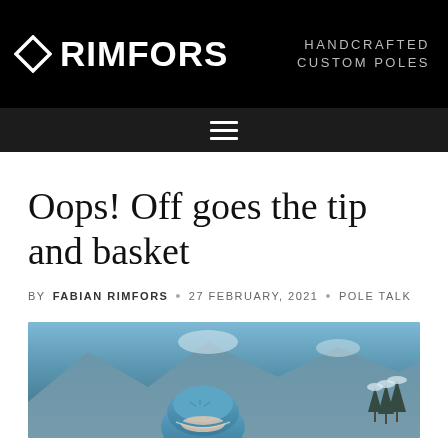RIMFORS — HANDCRAFTED CUSTOM POLES
Oops! Off goes the tip and basket
BY FABIAN RIMFORS · 27 FEBRUARY, 2021 · POLE TALK
[Figure (photo): Skier wearing a teal/blue helmet against a snowy mountain backdrop with snow-covered trees]